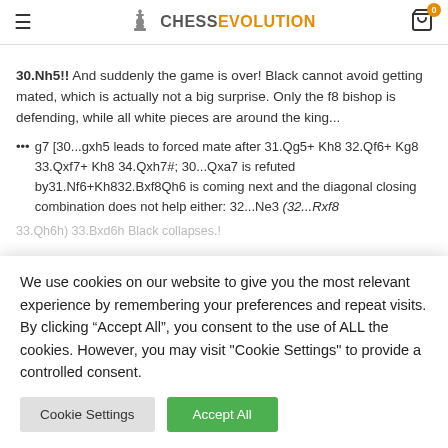CHESSEVOLUTION
30.Nh5!! And suddenly the game is over! Black cannot avoid getting mated, which is actually not a big surprise. Only the f8 bishop is defending, while all white pieces are around the king...
••• g7 [30...gxh5 leads to forced mate after 31.Qg5+ Kh8 32.Qf6+ Kg8 33.Qxf7+ Kh8 34.Qxh7#; 30...Qxa7 is refuted by31.Nf6+Kh832.Bxf8Qh6 is coming next and the diagonal closing combination does not help either: 32...Ne3 (32...Rxf8
33.Qh6h) 33.Bxd6h Black collapses.!
We use cookies on our website to give you the most relevant experience by remembering your preferences and repeat visits. By clicking “Accept All”, you consent to the use of ALL the cookies. However, you may visit "Cookie Settings" to provide a controlled consent.